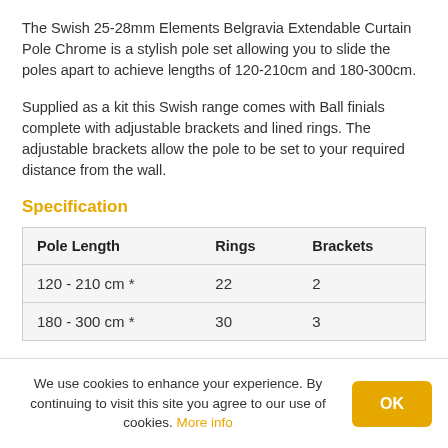The Swish 25-28mm Elements Belgravia Extendable Curtain Pole Chrome is a stylish pole set allowing you to slide the poles apart to achieve lengths of 120-210cm and 180-300cm.
Supplied as a kit this Swish range comes with Ball finials complete with adjustable brackets and lined rings. The adjustable brackets allow the pole to be set to your required distance from the wall.
Specification
| Pole Length | Rings | Brackets |
| --- | --- | --- |
| 120 - 210 cm * | 22 | 2 |
| 180 - 300 cm * | 30 | 3 |
We use cookies to enhance your experience. By continuing to visit this site you agree to our use of cookies. More info